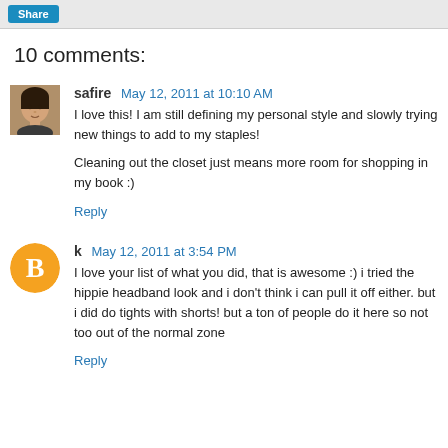[Figure (other): Share button in blue on a grey toolbar]
10 comments:
safire May 12, 2011 at 10:10 AM
I love this! I am still defining my personal style and slowly trying new things to add to my staples!

Cleaning out the closet just means more room for shopping in my book :)
Reply
k May 12, 2011 at 3:54 PM
I love your list of what you did, that is awesome :) i tried the hippie headband look and i don't think i can pull it off either. but i did do tights with shorts! but a ton of people do it here so not too out of the normal zone
Reply